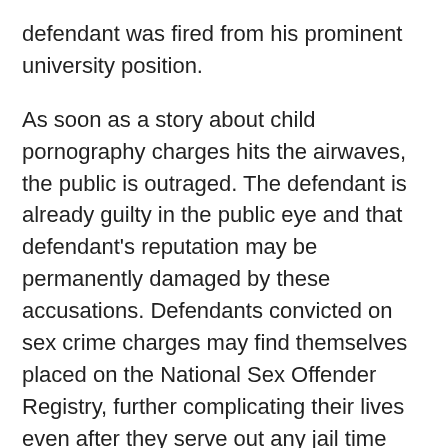defendant was fired from his prominent university position.
As soon as a story about child pornography charges hits the airwaves, the public is outraged. The defendant is already guilty in the public eye and that defendant's reputation may be permanently damaged by these accusations. Defendants convicted on sex crime charges may find themselves placed on the National Sex Offender Registry, further complicating their lives even after they serve out any jail time and pay all fines required.
Criminal charges such as child pornography are very serious. Not only are there the actual legal punishments such as jail time and fines, but a good